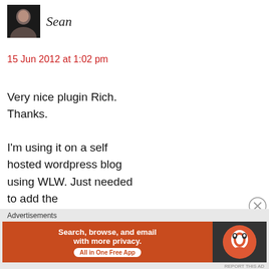[Figure (photo): Small avatar photo of a man, dark background, approximately 55x55px square]
Sean
15 Jun 2012 at 1:02 pm
Very nice plugin Rich. Thanks.

I'm using it on a self hosted wordpress blog using WLW. Just needed to add the http://wordpress.org/extend/plugins/syntaxhighlighte plugin to the site. Works
Advertisements
[Figure (screenshot): DuckDuckGo advertisement banner: orange left section with text 'Search, browse, and email with more privacy. All in One Free App', dark right section with DuckDuckGo logo]